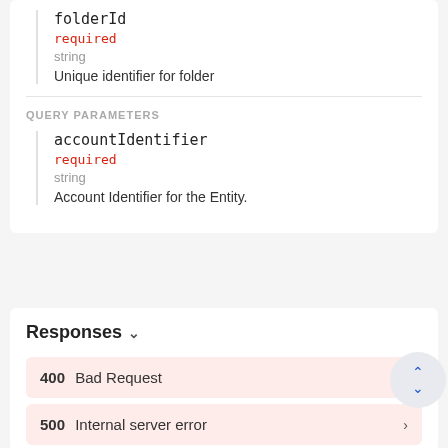folderId
required
string
Unique identifier for folder
QUERY PARAMETERS
accountIdentifier
required
string
Account Identifier for the Entity.
Responses
400 Bad Request
500 Internal server error